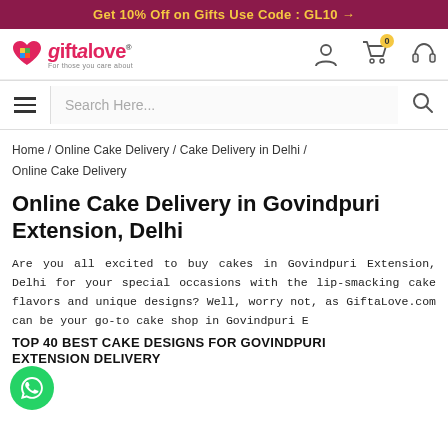Get 10% Off on Gifts Use Code : GL10 →
[Figure (logo): GiftaLove logo with heart icon and tagline 'For those you care about']
Search Here...
Home / Online Cake Delivery / Cake Delivery in Delhi / Online Cake Delivery
Online Cake Delivery in Govindpuri Extension, Delhi
Are you all excited to buy cakes in Govindpuri Extension, Delhi for your special occasions with the lip-smacking cake flavors and unique designs? Well, worry not, as GiftaLove.com can be your go-to cake shop in Govindpuri Extension, that can well be your for one-day delivery, as Definitely...
TOP 40 BEST CAKE DESIGNS FOR GOVINDPURI EXTENSION DELIVERY